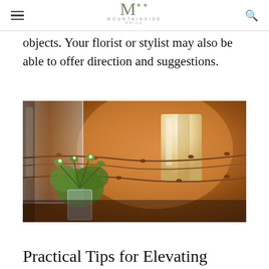Mountainside Bride
objects. Your florist or stylist may also be able to offer direction and suggestions.
[Figure (photo): Close-up photo of a rustic centerpiece featuring a pillar candle wrapped in barbed wire inside a glass vase, with delicate green foliage in the foreground, on a warm wooden surface.]
Practical Tips for Elevating